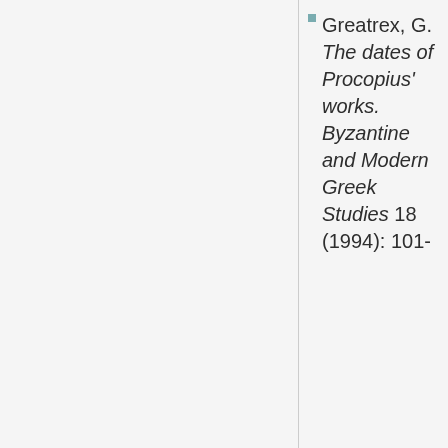Greatrex, G. The dates of Procopius' works. Byzantine and Modern Greek Studies 18 (1994): 101-